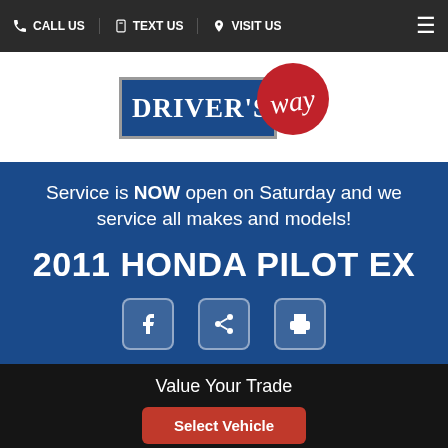CALL US | TEXT US | VISIT US
[Figure (logo): Driver's Way logo with blue rectangle and red circle with cursive 'way' text]
Service is NOW open on Saturday and we service all makes and models!
2011 HONDA PILOT EX
[Figure (infographic): Social share icons: Facebook, share, and print]
Value Your Trade
Select Vehicle